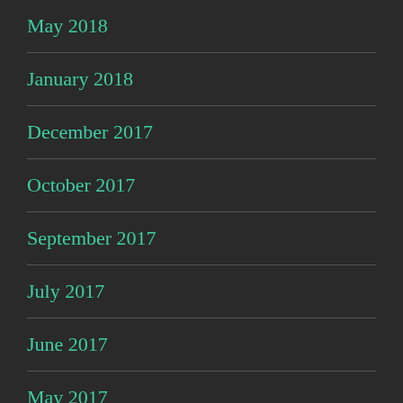May 2018
January 2018
December 2017
October 2017
September 2017
July 2017
June 2017
May 2017